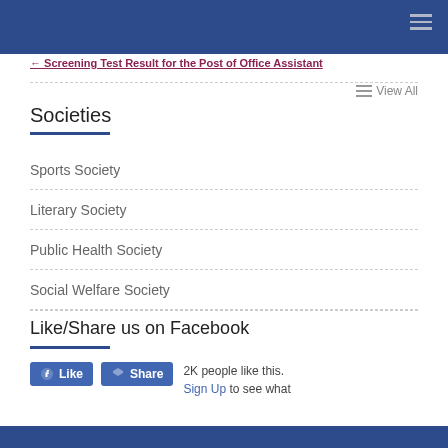← Screening Test Result for the Post of Office Assistant
View All
Societies
Sports Society
Literary Society
Public Health Society
Social Welfare Society
Like/Share us on Facebook
2K people like this. Sign Up to see what